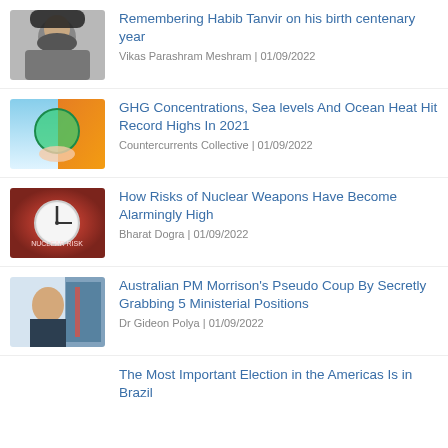[Figure (photo): Portrait photo of an elderly person wearing dark clothing and hat]
Remembering Habib Tanvir on his birth centenary year
Vikas Parashram Meshram | 01/09/2022
[Figure (photo): Image of hands holding a globe with climate/environmental theme]
GHG Concentrations, Sea levels And Ocean Heat Hit Record Highs In 2021
Countercurrents Collective | 01/09/2022
[Figure (photo): Clock on red background symbolizing nuclear doomsday clock]
How Risks of Nuclear Weapons Have Become Alarmingly High
Bharat Dogra | 01/09/2022
[Figure (photo): Photo of Australian PM Morrison in front of a flag]
Australian PM Morrison's Pseudo Coup By Secretly Grabbing 5 Ministerial Positions
Dr Gideon Polya | 01/09/2022
The Most Important Election in the Americas Is in Brazil